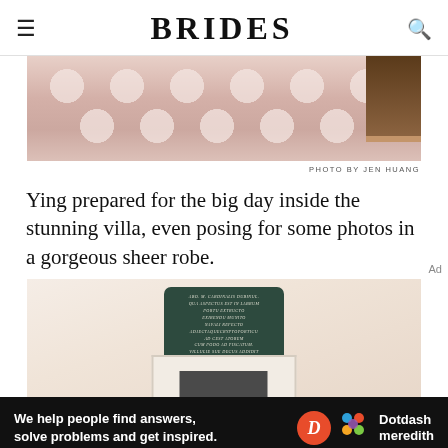BRIDES
[Figure (photo): Top portion of a room with pink hexagonal tile floor pattern and brown furniture visible at right edge]
PHOTO BY JEN HUANG
Ying prepared for the big day inside the stunning villa, even posing for some photos in a gorgeous sheer robe.
[Figure (photo): Interior of a villa showing a dark green arched plaque with Latin inscription mounted above a white fireplace mantel, warm cream colored walls]
[Figure (photo): Advertisement banner: We help people find answers, solve problems and get inspired. Dotdash Meredith logo]